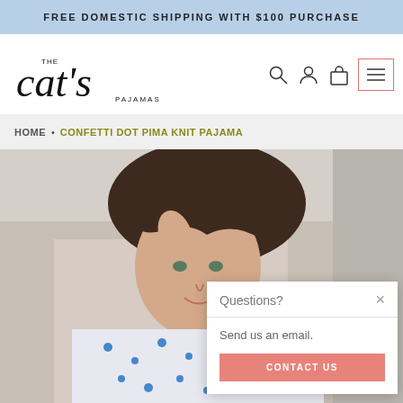FREE DOMESTIC SHIPPING WITH $100 PURCHASE
[Figure (logo): The Cat's Pajamas brand logo in cursive script with small text reading THE and PAJAMAS]
HOME • CONFETTI DOT PIMA KNIT PAJAMA
[Figure (photo): Woman with dark hair wearing pajamas with blue dots, smiling, resting hand near hair]
Questions?
Send us an email.
CONTACT US